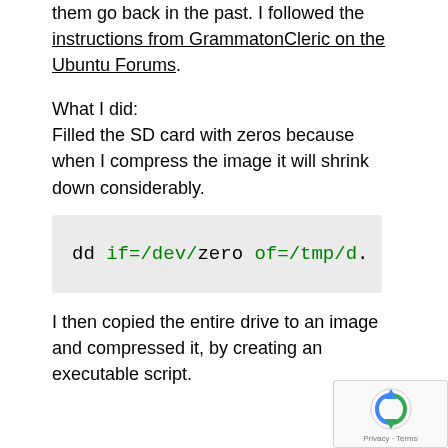them go back in the past. I followed the instructions from GrammatonCleric on the Ubuntu Forums.
What I did:
Filled the SD card with zeros because when I compress the image it will shrink down considerably.
dd if=/dev/zero of=/tmp/d.
I then copied the entire drive to an image and compressed it, by creating an executable script.